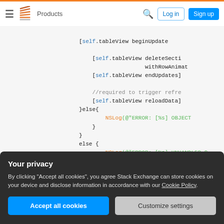Stack Exchange navigation bar with hamburger menu, logo, Products, search, Log in, Sign up buttons
[Figure (screenshot): Objective-C code snippet showing tableView beginUpdates, deleteSection, withRowAnimation, endUpdates, reloadData, else blocks with NSLog ERROR messages]
Your privacy
By clicking "Accept all cookies", you agree Stack Exchange can store cookies on your device and disclose information in accordance with our Cookie Policy.
Accept all cookies
Customize settings